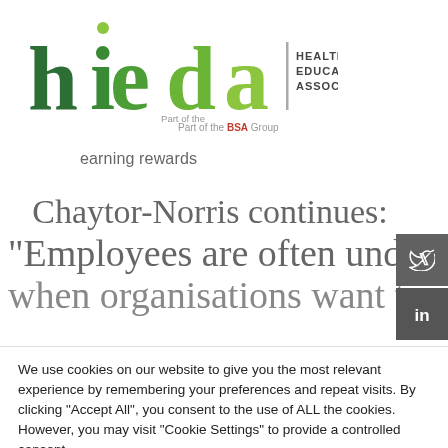[Figure (logo): hieda - Health in Education Association, Part of the BSA Group logo]
earning rewards
Chaytor-Norris continues: “Employees are often under-us… when organisations want to tak…
We use cookies on our website to give you the most relevant experience by remembering your preferences and repeat visits. By clicking “Accept All”, you consent to the use of ALL the cookies. However, you may visit “Cookie Settings” to provide a controlled consent.